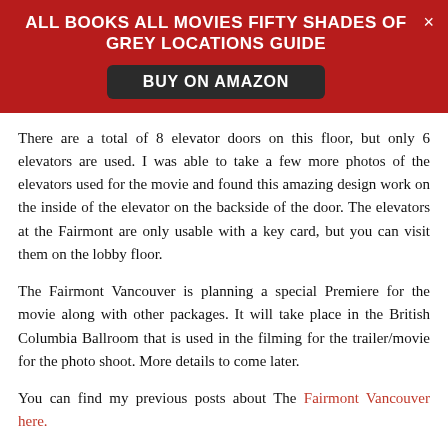ALL BOOKS ALL MOVIES FIFTY SHADES OF GREY LOCATIONS GUIDE
BUY ON AMAZON
There are a total of 8 elevator doors on this floor, but only 6 elevators are used. I was able to take a few more photos of the elevators used for the movie and found this amazing design work on the inside of the elevator on the backside of the door. The elevators at the Fairmont are only usable with a key card, but you can visit them on the lobby floor.
The Fairmont Vancouver is planning a special Premiere for the movie along with other packages. It will take place in the British Columbia Ballroom that is used in the filming for the trailer/movie for the photo shoot. More details to come later.
You can find my previous posts about The Fairmont Vancouver here.